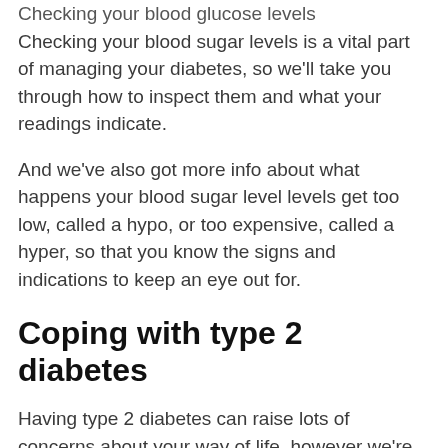Checking your blood glucose levels Checking your blood sugar levels is a vital part of managing your diabetes, so we'll take you through how to inspect them and what your readings indicate.
And we've also got more info about what happens your blood sugar level levels get too low, called a hypo, or too expensive, called a hyper, so that you know the signs and indications to keep an eye out for.
Coping with type 2 diabetes
Having type 2 diabetes can raise lots of concerns about your way of life, however we're here with the responses. From dietary suggestions and recipes to assist you know what to eat when you